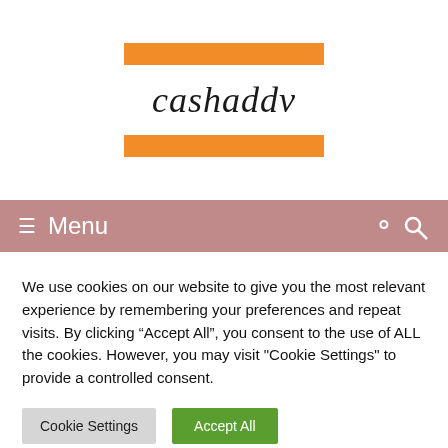[Figure (logo): cashaddv logo with orange bars above and below the handwritten-style text]
≡ Menu
We use cookies on our website to give you the most relevant experience by remembering your preferences and repeat visits. By clicking "Accept All", you consent to the use of ALL the cookies. However, you may visit "Cookie Settings" to provide a controlled consent.
Cookie Settings | Accept All